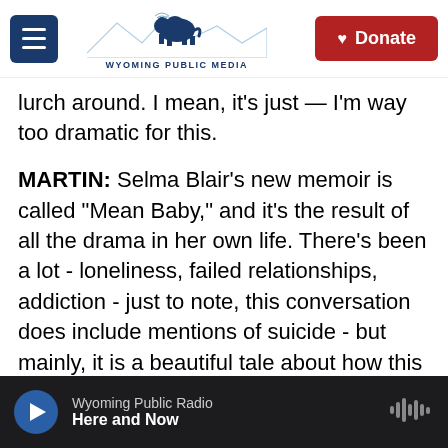Wyoming Public Media — navigation header with Donate button
lurch around. I mean, it's just — I'm way too dramatic for this.
MARTIN: Selma Blair's new memoir is called "Mean Baby," and it's the result of all the drama in her own life. There's been a lot - loneliness, failed relationships, addiction - just to note, this conversation does include mentions of suicide - but mainly, it is a beautiful tale about how this person learned to love a new version of herself. Selma Blair inherited a lot of her dramatic tendencies from her mother, who died in 2020. When I talked to her, she was in Michigan for her mom's funeral, which
Wyoming Public Radio — Here and Now (audio player)